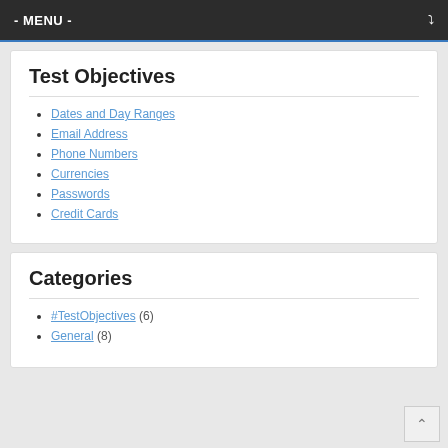- MENU -
Test Objectives
Dates and Day Ranges
Email Address
Phone Numbers
Currencies
Passwords
Credit Cards
Categories
#TestObjectives (6)
General (8)